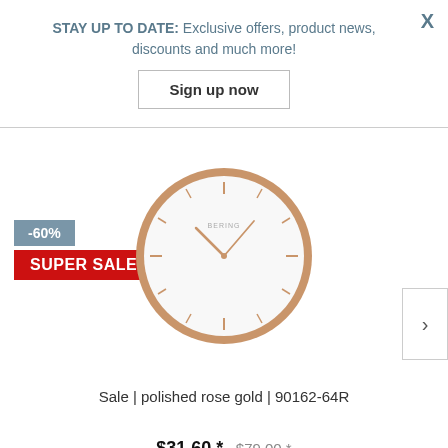STAY UP TO DATE: Exclusive offers, product news, discounts and much more!
Sign up now
[Figure (photo): A round wall clock with a rose gold polished frame, white face, and minimalist hour markers and hands.]
-60%
SUPER SALE
Sale | polished rose gold | 90162-64R
$31.60 * $79.00 *